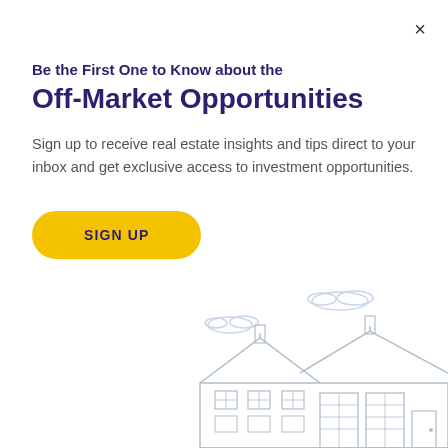×
Be the First One to Know about the Off-Market Opportunities
Sign up to receive real estate insights and tips direct to your inbox and get exclusive access to investment opportunities.
SIGN UP
[Figure (illustration): Light blue/grey line-art illustration of a house with multiple sections, roof lines, windows, and garage doors in the bottom right of the modal.]